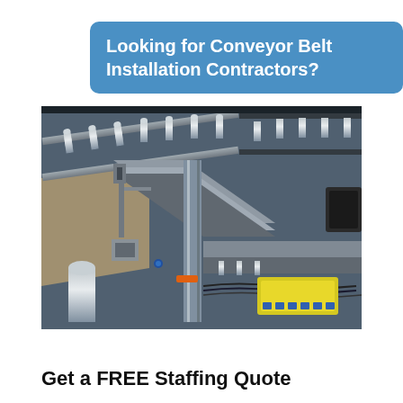Looking for Conveyor Belt Installation Contractors?
[Figure (photo): Industrial conveyor belt system with metal rollers, aluminum frame tracks intersecting at angles, with wiring, electrical components, and a yellow component visible in the lower right. The conveyor system shows multiple roller sections and mechanical infrastructure.]
Get a FREE Staffing Quote